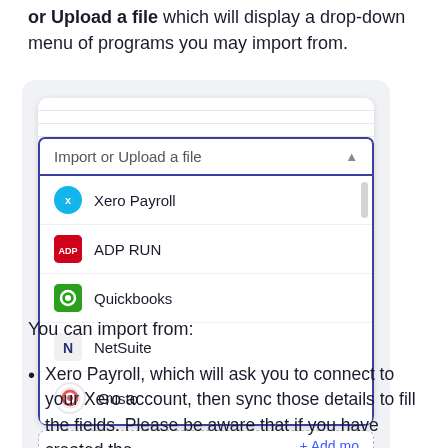or Upload a file which will display a drop-down menu of programs you may import from.
[Figure (screenshot): Screenshot of a UI dropdown menu labeled 'Import or Upload a file' showing options: Xero Payroll, ADP RUN, Quickbooks, NetSuite, Gusto, with a scrollbar on the right and an '+ Add mo' button below.]
You can import from:
Xero Payroll, which will ask you to connect to your Xero account, then sync those details to fill the fields. Please be aware that if you have created the